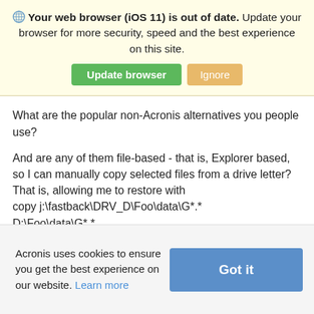Your web browser (iOS 11) is out of date. Update your browser for more security, speed and the best experience on this site.
[Figure (screenshot): Two buttons: green 'Update browser' and tan/gold 'Ignore']
What are the popular non-Acronis alternatives you people use?
And are any of them file-based - that is, Explorer based, so I can manually copy selected files from a drive letter? That is, allowing me to restore with copy j:\fastback\DRV_D\Foo\data\G*.* D:\Foo\data\G*.* instead of being restricted to restoring only the way that the product lets you?
Acronis uses cookies to ensure you get the best experience on our website. Learn more
[Figure (screenshot): Blue 'Got it' button for cookie consent]